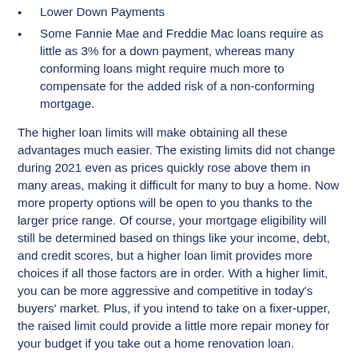Lower Down Payments
Some Fannie Mae and Freddie Mac loans require as little as 3% for a down payment, whereas many conforming loans might require much more to compensate for the added risk of a non-conforming mortgage.
The higher loan limits will make obtaining all these advantages much easier. The existing limits did not change during 2021 even as prices quickly rose above them in many areas, making it difficult for many to buy a home. Now more property options will be open to you thanks to the larger price range. Of course, your mortgage eligibility will still be determined based on things like your income, debt, and credit scores, but a higher loan limit provides more choices if all those factors are in order. With a higher limit, you can be more aggressive and competitive in today's buyers' market. Plus, if you intend to take on a fixer-upper, the raised limit could provide a little more repair money for your budget if you take out a home renovation loan.